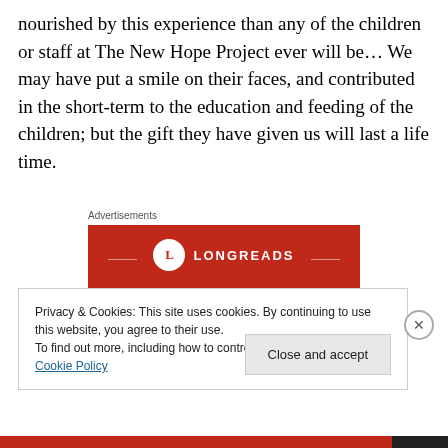nourished by this experience than any of the children or staff at The New Hope Project ever will be… We may have put a smile on their faces, and contributed in the short-term to the education and feeding of the children; but the gift they have given us will last a life time.
Advertisements
[Figure (illustration): Longreads advertisement banner with red background showing the Longreads logo (circle with L) and the text 'The best stories on the web – ours, and']
Privacy & Cookies: This site uses cookies. By continuing to use this website, you agree to their use.
To find out more, including how to control cookies, see here: Cookie Policy